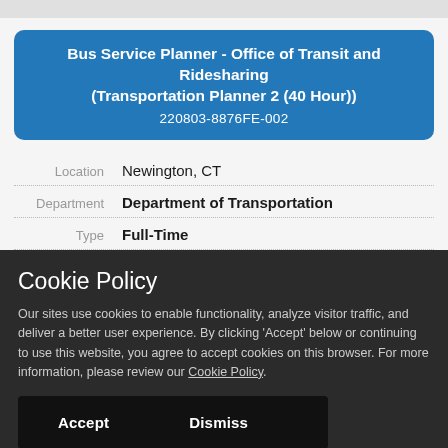Bus Service Planner - Office of Transit and Ridesharing (Transportation Planner 2 (40 Hour)) 220803-8876FE-002
| Label | Value |
| --- | --- |
| Location | Newington, CT |
| Department | Department of Transportation |
| Type | Full-Time |
Cookie Policy
Our sites use cookies to enable functionality, analyze visitor traffic, and deliver a better user experience. By clicking 'Accept' below or continuing to use this website, you agree to accept cookies on this browser. For more information, please review our Cookie Policy.
Accept   Dismiss